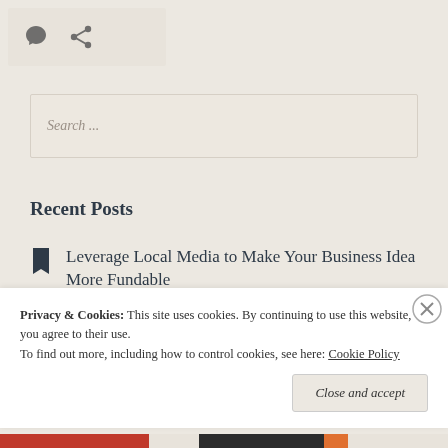[Figure (other): Icon bar with speech bubble and share/link icons on a beige background]
Search ...
Recent Posts
Leverage Local Media to Make Your Business Idea More Fundable
The 5 Critical Parts of Your Business Plan
Privacy & Cookies:  This site uses cookies. By continuing to use this website, you agree to their use.
To find out more, including how to control cookies, see here: Cookie Policy
Close and accept